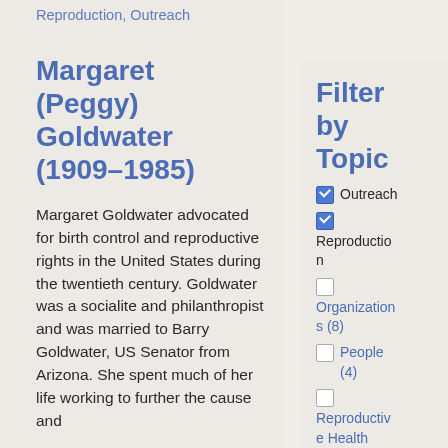Reproduction, Outreach
Margaret (Peggy) Goldwater (1909–1985)
Margaret Goldwater advocated for birth control and reproductive rights in the United States during the twentieth century. Goldwater was a socialite and philanthropist and was married to Barry Goldwater, US Senator from Arizona. She spent much of her life working to further the cause and...
Filter by Topic
Outreach (checked)
Reproduction (checked)
Organizations (8)
People (4)
Reproductive Health